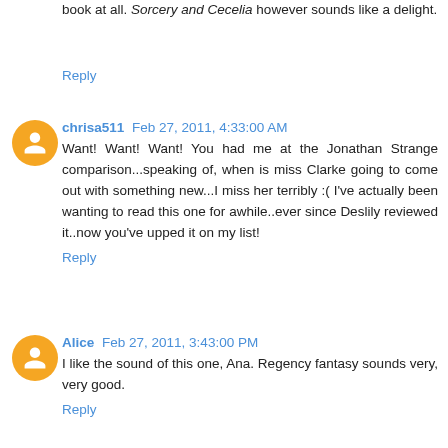book at all. Sorcery and Cecelia however sounds like a delight.
Reply
chrisa511 Feb 27, 2011, 4:33:00 AM
Want! Want! Want! You had me at the Jonathan Strange comparison...speaking of, when is miss Clarke going to come out with something new...I miss her terribly :( I've actually been wanting to read this one for awhile..ever since Deslily reviewed it..now you've upped it on my list!
Reply
Alice Feb 27, 2011, 3:43:00 PM
I like the sound of this one, Ana. Regency fantasy sounds very, very good.
Reply